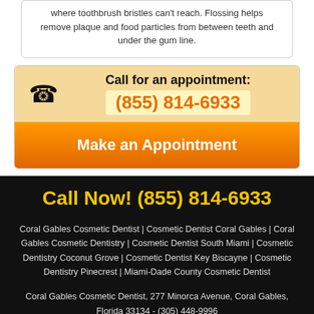where toothbrush bristles can't reach. Flossing helps remove plaque and food particles from between teeth and under the gum line.
Call for an appointment: (855) 814-6933
Make an Appointment
Call Now! (855) 814-6933
Coral Gables Cosmetic Dentist | Cosmetic Dentist Coral Gables | Coral Gables Cosmetic Dentistry | Cosmetic Dentist South Miami | Cosmetic Dentistry Coconut Grove | Cosmetic Dentist Key Biscayne | Cosmetic Dentistry Pinecrest | Miami-Dade County Cosmetic Dentist
Coral Gables Cosmetic Dentist, 277 Minorca Avenue, Coral Gables, Florida 33134 - (305) 448-9996
Nibaldo P Morales